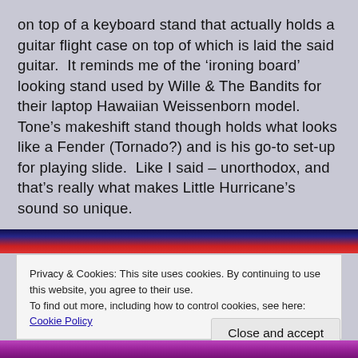on top of a keyboard stand that actually holds a guitar flight case on top of which is laid the said guitar.  It reminds me of the ‘ironing board’ looking stand used by Wille & The Bandits for their laptop Hawaiian Weissenborn model.  Tone’s makeshift stand though holds what looks like a Fender (Tornado?) and is his go-to set-up for playing slide.  Like I said – unorthodox, and that’s really what makes Little Hurricane’s sound so unique.
[Figure (photo): Partial view of a colorful photo strip with dark blue, red, and purple tones visible at top and bottom of page]
Privacy & Cookies: This site uses cookies. By continuing to use this website, you agree to their use.
To find out more, including how to control cookies, see here: Cookie Policy
Close and accept